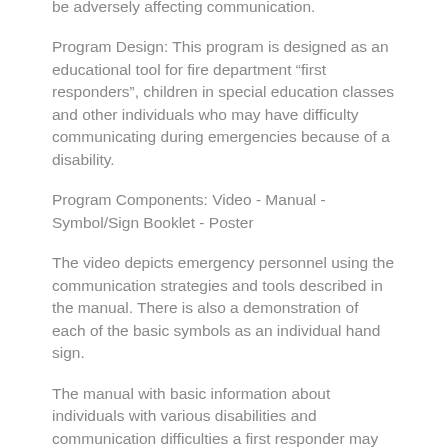be adversely affecting communication.
Program Design: This program is designed as an educational tool for fire department “first responders”, children in special education classes and other individuals who may have difficulty communicating during emergencies because of a disability.
Program Components: Video - Manual - Symbol/Sign Booklet - Poster
The video depicts emergency personnel using the communication strategies and tools described in the manual. There is also a demonstration of each of the basic symbols as an individual hand sign.
The manual with basic information about individuals with various disabilities and communication difficulties a first responder may encounter on a call involving these individuals (in